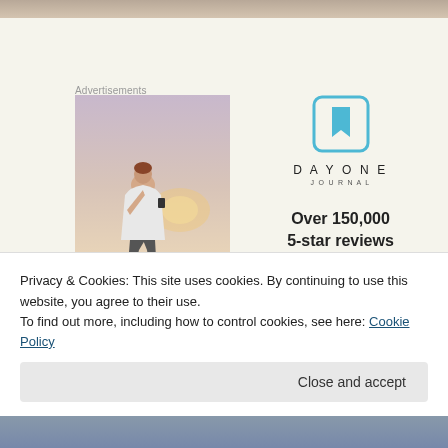[Figure (photo): Top partial photo strip showing an outdoor scene]
Advertisements
[Figure (photo): Person photographing a sunset with a phone, seen from behind, wearing a white t-shirt]
[Figure (logo): DayOne Journal app logo — blue bookmark icon with text DAYONE JOURNAL, Over 150,000 5-star reviews, five star rating]
Privacy & Cookies: This site uses cookies. By continuing to use this website, you agree to their use.
To find out more, including how to control cookies, see here: Cookie Policy
Close and accept
[Figure (photo): Bottom partial photo strip showing an outdoor blue-tone scene]